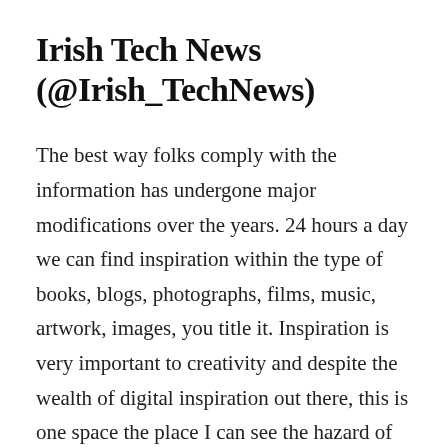Irish Tech News (@Irish_TechNews)
The best way folks comply with the information has undergone major modifications over the years. 24 hours a day we can find inspiration within the type of books, blogs, photographs, films, music, artwork, images, you title it. Inspiration is very important to creativity and despite the wealth of digital inspiration out there, this is one space the place I can see the hazard of creativity being stunted by expertise.
Know-how blogs embody the topics on net …